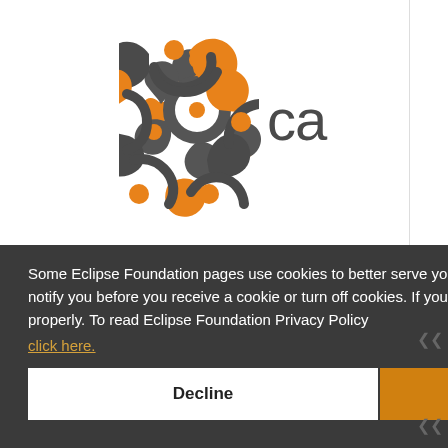[Figure (logo): Capra logo: orange and dark gray interconnected nodes symbol with 'capra' text in dark gray]
Some Eclipse Foundation pages use cookies to better serve you when you return to the site. You can set your browser to notify you before you receive a cookie or turn off cookies. If you do so, however, some areas of some sites may not function properly. To read Eclipse Foundation Privacy Policy
click here.
Decline
Allow cookies
Eclipse Automotive